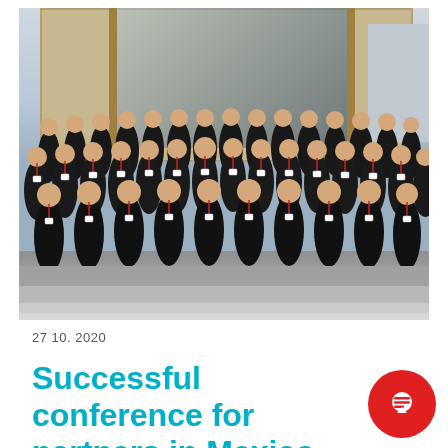[Figure (photo): Large group photo of approximately 60-70 people, most wearing matching black jackets with lanyards/badges, posing in front of a building with large glass entrance doors. People are arranged in multiple rows.]
27 10. 2020
Successful conference for partners in Mexico